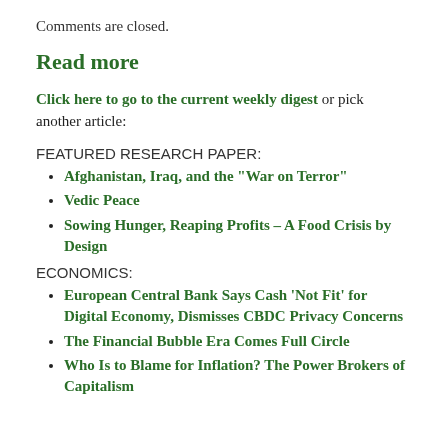Comments are closed.
Read more
Click here to go to the current weekly digest or pick another article:
FEATURED RESEARCH PAPER:
Afghanistan, Iraq, and the “War on Terror”
Vedic Peace
Sowing Hunger, Reaping Profits – A Food Crisis by Design
ECONOMICS:
European Central Bank Says Cash ‘Not Fit’ for Digital Economy, Dismisses CBDC Privacy Concerns
The Financial Bubble Era Comes Full Circle
Who Is to Blame for Inflation? The Power Brokers of Capitalism